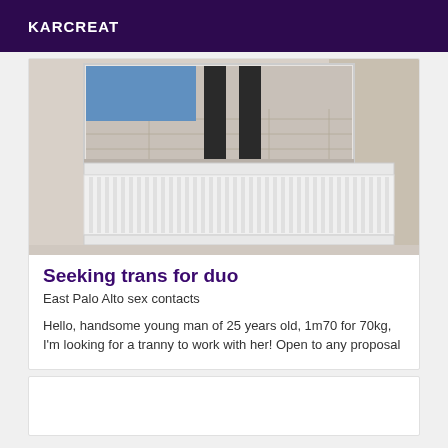KARCREAT
[Figure (photo): A photo showing a white wall-mounted radiator with fins, taken in an interior room. A mirror above reflects legs of a person standing in a tiled room with blue walls.]
Seeking trans for duo
East Palo Alto sex contacts
Hello, handsome young man of 25 years old, 1m70 for 70kg, I'm looking for a tranny to work with her! Open to any proposal